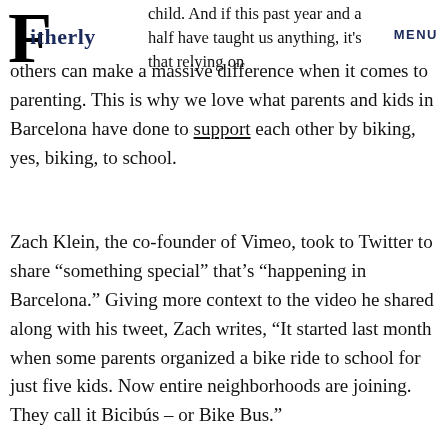Fatherly | MENU
child. And if this past year and a half have taught us anything, it's that relying on others can make a massive difference when it comes to parenting. This is why we love what parents and kids in Barcelona have done to support each other by biking, yes, biking, to school.
Zach Klein, the co-founder of Vimeo, took to Twitter to share “something special” that’s “happening in Barcelona.” Giving more context to the video he shared along with his tweet, Zach writes, “It started last month when some parents organized a bike ride to school for just five kids. Now entire neighborhoods are joining. They call it Bicibús – or Bike Bus.”